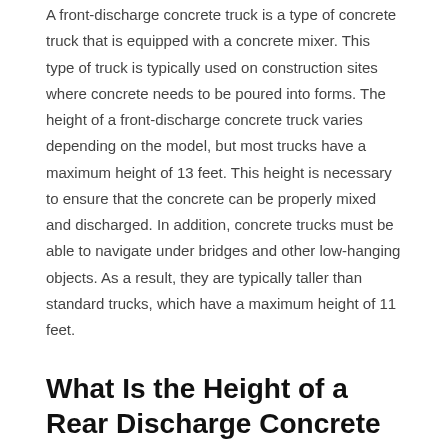A front-discharge concrete truck is a type of concrete truck that is equipped with a concrete mixer. This type of truck is typically used on construction sites where concrete needs to be poured into forms. The height of a front-discharge concrete truck varies depending on the model, but most trucks have a maximum height of 13 feet. This height is necessary to ensure that the concrete can be properly mixed and discharged. In addition, concrete trucks must be able to navigate under bridges and other low-hanging objects. As a result, they are typically taller than standard trucks, which have a maximum height of 11 feet.
What Is the Height of a Rear Discharge Concrete Truck?
A rear-discharge concrete truck is a type of concrete truck that is equipped with a concrete mixer. This type of truck is typically used on construction sites where concrete needs to be poured into forms. The height of a rear-discharge concrete truck varies